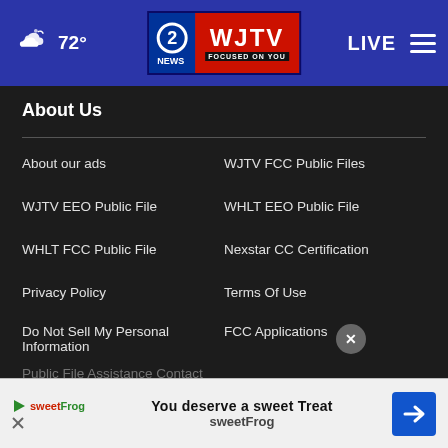72° WJTV 2 News Focused On You — LIVE
About Us
About our ads
WJTV FCC Public Files
WJTV EEO Public File
WHLT EEO Public File
WHLT FCC Public File
Nexstar CC Certification
Privacy Policy
Terms Of Use
Do Not Sell My Personal Information
FCC Applications
Public File Assistance Contact
[Figure (infographic): SweetFrog advertisement banner: 'You deserve a sweet Treat sweetFrog' with logo and navigation arrow icon]